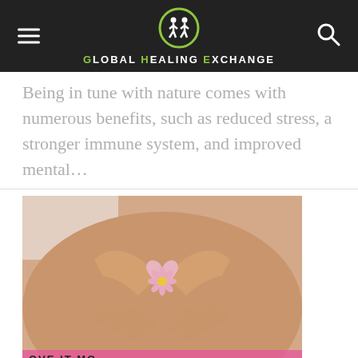Global Healing Exchange
Being in tune with nature comes with numerous benefits, such as reduced stress, a stronger immune system, and improved mental…
[Figure (photo): A person's torso with two hands forming a heart shape over the belly button, with a small pink daisy flower at the center, lying on a white surface with a yoga mat visible at the bottom.]